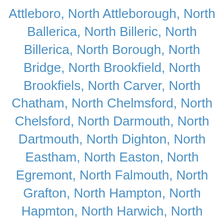Attleboro, North Attleborough, North Ballerica, North Billeric, North Billerica, North Borough, North Bridge, North Brookfield, North Brookfiels, North Carver, North Chatham, North Chelmsford, North Chelsford, North Darmouth, North Dartmouth, North Dighton, North Eastham, North Easton, North Egremont, North Falmouth, North Grafton, North Hampton, North Hapmton, North Harwich, North Hatfield, North Oxford, North Oxford, Ma 01537, North Pembroke, North Plymouth, North Quincy, North Reaching, North Reading, North Scituate, North Swansea, North Truro, North Uxbridge, North Westport, North Wey Mouth, North